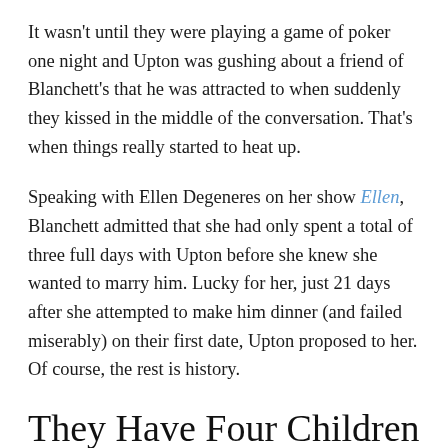It wasn't until they were playing a game of poker one night and Upton was gushing about a friend of Blanchett's that he was attracted to when suddenly they kissed in the middle of the conversation. That's when things really started to heat up.
Speaking with Ellen Degeneres on her show Ellen, Blanchett admitted that she had only spent a total of three full days with Upton before she knew she wanted to marry him. Lucky for her, just 21 days after she attempted to make him dinner (and failed miserably) on their first date, Upton proposed to her. Of course, the rest is history.
They Have Four Children Together